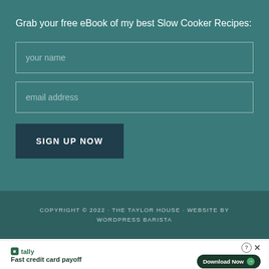Grab your free eBook of my best Slow Cooker Recipes:
[Figure (screenshot): Email sign-up form with 'your name' and 'email address' input fields and a 'SIGN UP NOW' button on a teal background]
COPYRIGHT © 2022 · THE TAYLOR HOUSE · WEBSITE BY WORDPRESS BARISTA
AN ELITE CAFEMEDIA FAMILY & PARENTING PUBLISHER
[Figure (infographic): Tally advertisement banner: 'Fast credit card payoff' with a 'Download Now' button]